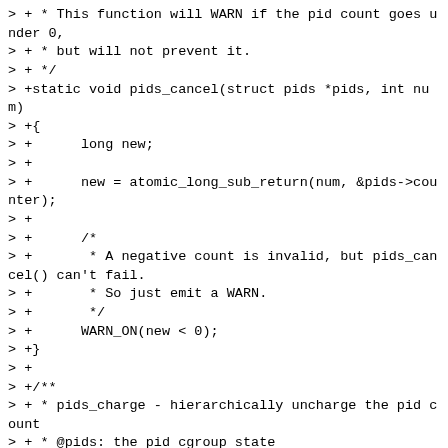> + * This function will WARN if the pid count goes under 0,
> + * but will not prevent it.
> + */
> +static void pids_cancel(struct pids *pids, int num)
> +{
> +      long new;
> +
> +      new = atomic_long_sub_return(num, &pids->counter);
> +
> +      /*
> +       * A negative count is invalid, but pids_cancel() can't fail.
> +       * So just emit a WARN.
> +       */
> +      WARN_ON(new < 0);
> +}
> +
> +/**
> + * pids_charge - hierarchically uncharge the pid count
> + * @pids: the pid cgroup state
> + * @num: the number of pids to uncharge
> + *
> + * This function will not allow the pid count to go under 0,
> + * and will WARN if a caller attempts to do so.
> + */
> +static void pids_uncharge(struct pids *pids, int